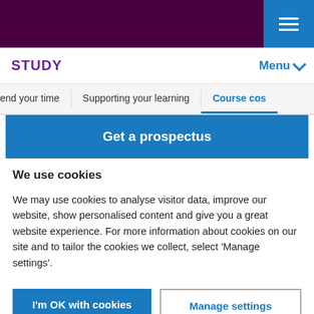[Figure (screenshot): Dark purple top navigation bar with blue hamburger menu button on the right]
STUDY   Menu
end your time   Supporting your learning   Course co…
Get a prospectus
We use cookies
We may use cookies to analyse visitor data, improve our website, show personalised content and give you a great website experience. For more information about cookies on our site and to tailor the cookies we collect, select 'Manage settings'.
I'm OK with cookies   Manage settings